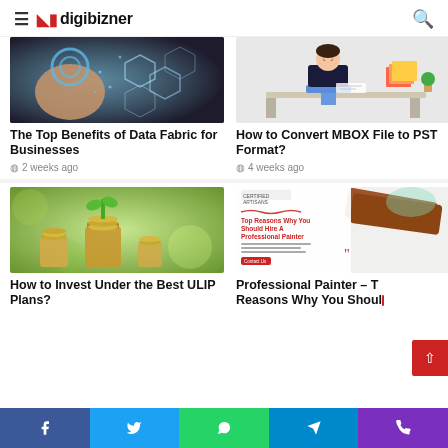digibizner
[Figure (photo): Hand pointing at digital hexagon network - Data Fabric concept]
[Figure (illustration): Cartoon businesswoman sitting at desk with folders]
The Top Benefits of Data Fabric for Businesses
2 weeks ago
How to Convert MBOX File to PST Format?
4 weeks ago
[Figure (photo): Plant growing from coins in a jar - investment concept]
[Figure (infographic): Certified Artisans - Top Reasons Why You Should Hire A Professional Painter]
How to Invest Under the Best ULIP Plans?
Professional Painter – Top Reasons Why You Should...
Facebook Twitter WhatsApp Telegram Phone